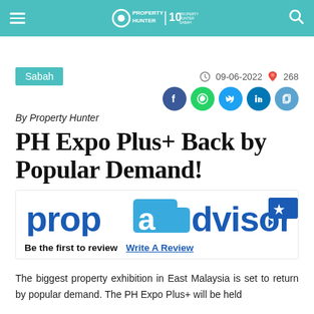Property Hunter | 10 [anniversary logo]
Sabah
09-06-2022   268
By Property Hunter
PH Expo Plus+ Back by Popular Demand!
[Figure (logo): PropAdvisor logo in blue with star badge]
Be the first to review   Write A Review
The biggest property exhibition in East Malaysia is set to return by popular demand. The PH Expo Plus+ will be held